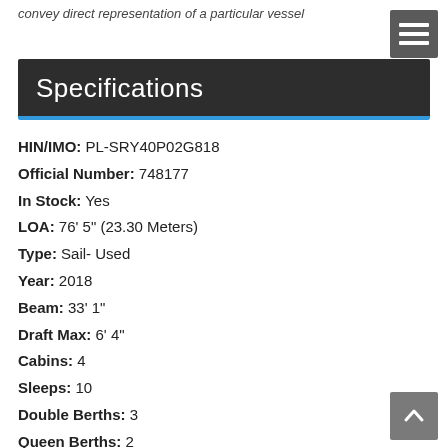convey direct representation of a particular vessel
Specifications
HIN/IMO: PL-SRY40P02G818
Official Number: 748177
In Stock: Yes
LOA: 76' 5" (23.30 Meters)
Type: Sail- Used
Year: 2018
Beam: 33' 1"
Draft Max: 6' 4"
Cabins: 4
Sleeps: 10
Double Berths: 3
Queen Berths: 2